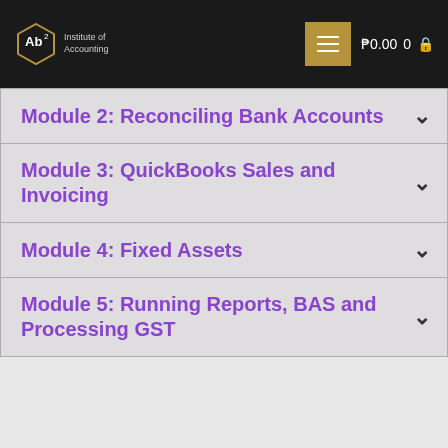Ab² Institute of Accounting — ₱0.00 0
Module 2: Reconciling Bank Accounts
Module 3: QuickBooks Sales and Invoicing
Module 4: Fixed Assets
Module 5: Running Reports, BAS and Processing GST